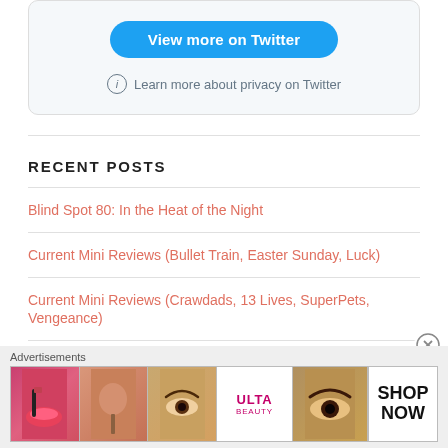[Figure (screenshot): Twitter widget box with 'View more on Twitter' blue button and privacy info link]
Learn more about privacy on Twitter
RECENT POSTS
Blind Spot 80: In the Heat of the Night
Current Mini Reviews (Bullet Train, Easter Sunday, Luck)
Current Mini Reviews (Crawdads, 13 Lives, SuperPets, Vengeance)
[Figure (screenshot): Advertisements banner with Ulta Beauty cosmetics ad images and SHOP NOW button]